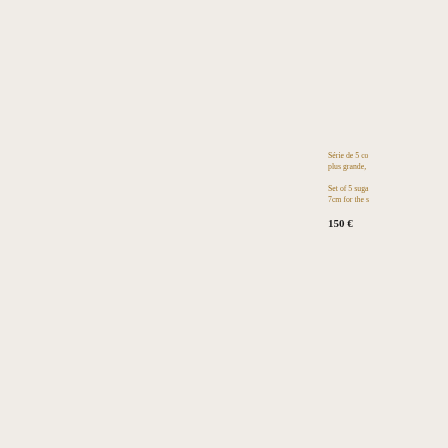Série de 5 co plus grande,
Set of 5 suga 7cm for the s
150 €